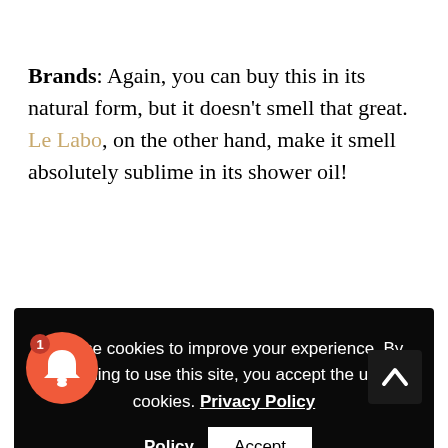Brands: Again, you can buy this in its natural form, but it doesn't smell that great. Le Labo, on the other hand, make it smell absolutely sublime in its shower oil!
[Figure (screenshot): Cookie consent banner with black background. Text reads: 'We use cookies to improve your experience. By continuing to use this site, you accept the use of cookies. Privacy Policy' with an Accept button.]
[Figure (other): Notification bell icon button — coral/red circle with a bell icon and badge showing '1']
[Figure (other): Back-to-top button — dark square with upward chevron arrow]